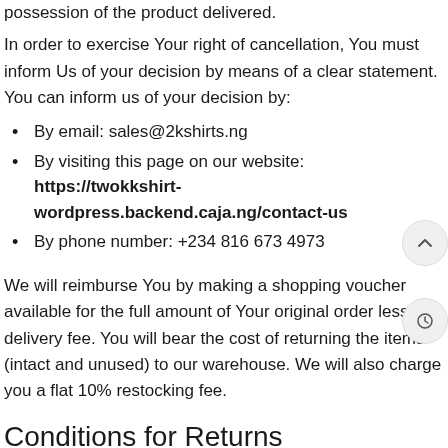possession of the product delivered.
In order to exercise Your right of cancellation, You must inform Us of your decision by means of a clear statement. You can inform us of your decision by:
By email: sales@2kshirts.ng
By visiting this page on our website: https://twokkshirt-wordpress.backend.caja.ng/contact-us
By phone number: +234 816 673 4973
We will reimburse You by making a shopping voucher available for the full amount of Your original order less the delivery fee. You will bear the cost of returning the items (intact and unused) to our warehouse. We will also charge you a flat 10% restocking fee.
Conditions for Returns